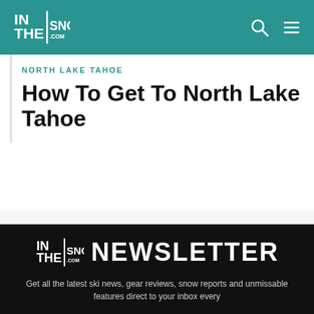INTHESNOW.COM — Navigation header with logo, search, and menu icons
NORTH LAKE TAHOE
How To Get To North Lake Tahoe
[Figure (logo): INTHESNOW.COM Newsletter logo with text NEWSLETTER]
Get all the latest ski news, gear reviews, snow reports and unmissable features direct to your inbox every